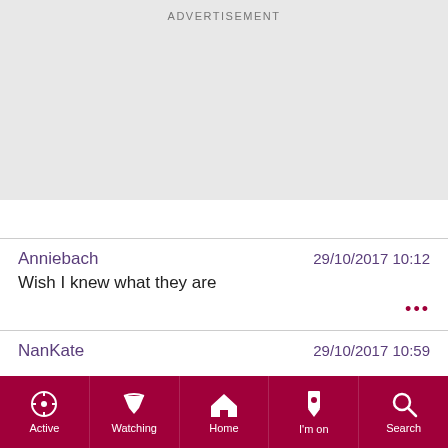[Figure (other): Advertisement placeholder area with light gray background]
Anniebach   29/10/2017 10:12
Wish I knew what they are
NanKate   29/10/2017 10:59
[Figure (other): Bottom navigation bar with icons: Active, Watching, Home, I'm on, Search]